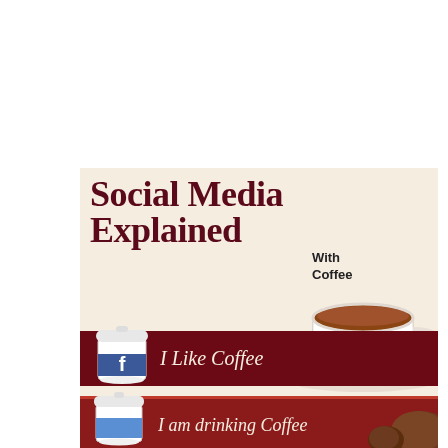Social Media Explained With Coffee
I Like Coffee
I am drinking Coffee